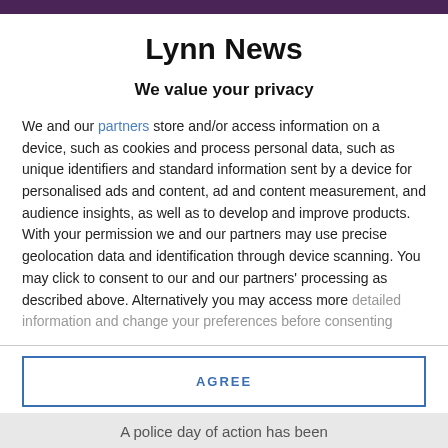Lynn News
We value your privacy
We and our partners store and/or access information on a device, such as cookies and process personal data, such as unique identifiers and standard information sent by a device for personalised ads and content, ad and content measurement, and audience insights, as well as to develop and improve products. With your permission we and our partners may use precise geolocation data and identification through device scanning. You may click to consent to our and our partners' processing as described above. Alternatively you may access more detailed information and change your preferences before consenting
AGREE
MORE OPTIONS
A police day of action has been